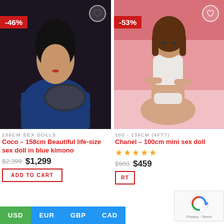[Figure (photo): Product photo of Coco doll in blue kimono holding a black fan, dark background, -46% badge, heart icon top right]
158CM SEX DOLLS
Coco – 158cm Beautiful life-size sex doll in blue kimono
$2,399  $1,299
ADD TO CART
[Figure (photo): Product photo of Chanel doll in white lingerie, pink background, -53% badge, heart icon top right]
100 - 139CM (4FT7)
Chanel – 100cm mini sex doll
★★★★★
$980  $459
USD  EUR  GBP  CAD  RT